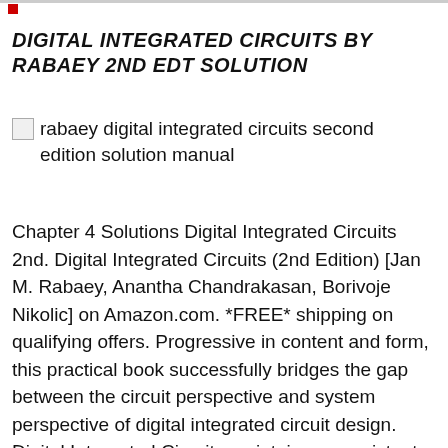DIGITAL INTEGRATED CIRCUITS BY RABAEY 2ND EDT SOLUTION
[Figure (illustration): Broken image placeholder for rabaey digital integrated circuits second edition solution manual]
rabaey digital integrated circuits second edition solution manual
Chapter 4 Solutions Digital Integrated Circuits 2nd. Digital Integrated Circuits (2nd Edition) [Jan M. Rabaey, Anantha Chandrakasan, Borivoje Nikolic] on Amazon.com. *FREE* shipping on qualifying offers. Progressive in content and form, this practical book successfully bridges the gap between the circuit perspective and system perspective of digital integrated circuit design. Digital Integrated Circuits maintains a consistent, Digital Integrated Circuits Jan M